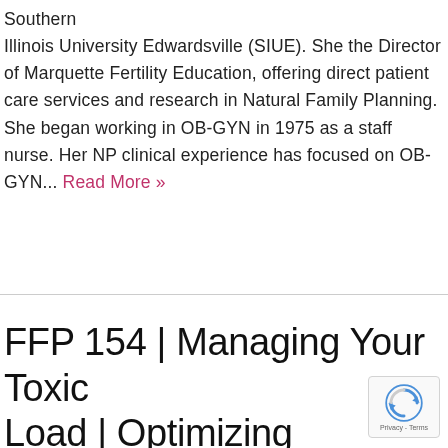Southern Illinois University Edwardsville (SIUE). She the Director of Marquette Fertility Education, offering direct patient care services and research in Natural Family Planning. She began working in OB-GYN in 1975 as a staff nurse. Her NP clinical experience has focused on OB-GYN... Read More »
FFP 154 | Managing Your Toxic Load | Optimizing Digestion & Liver Function | Dr. Joseph